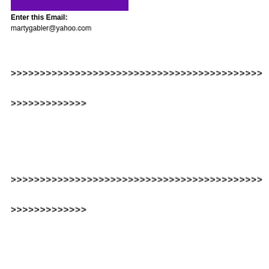[Figure (other): Purple horizontal bar at top of page]
Enter this Email:
martygabler@yahoo.com
>>>>>>>>>>>>>>>>>>>>>>>>>>>>>>>>>>>>>>>>>>>>
>>>>>>>>>>>>>
>>>>>>>>>>>>>>>>>>>>>>>>>>>>>>>>>>>>>>>>>>>>
>>>>>>>>>>>>>